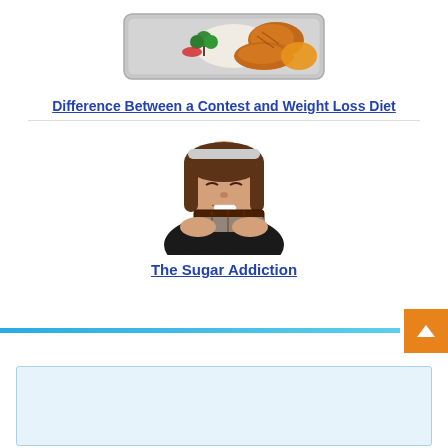[Figure (photo): Food container with grilled chicken, rice, and vegetables viewed from above]
Difference Between a Contest and Weight Loss Diet
[Figure (photo): Woman eating a piece of chocolate with eyes closed]
The Sugar Addiction